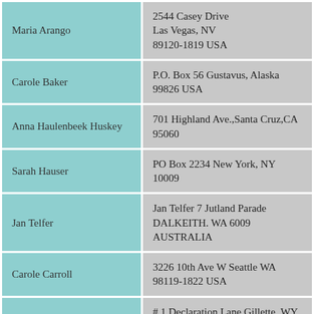| Name | Address |
| --- | --- |
| Maria Arango | 2544 Casey Drive Las Vegas, NV 89120-1819 USA |
| Carole Baker | P.O. Box 56 Gustavus, Alaska 99826 USA |
| Anna Haulenbeek Huskey | 701 Highland Ave.,Santa Cruz,CA 95060 |
| Sarah Hauser | PO Box 2234 New York, NY 10009 |
| Jan Telfer | Jan Telfer 7 Jutland Parade DALKEITH. WA 6009 AUSTRALIA |
| Carole Carroll | 3226 10th Ave W Seattle WA 98119-1822 USA |
| Connie Giancarli Brewer | # 1 Declaration Lane Gillette, WY 82716 USA |